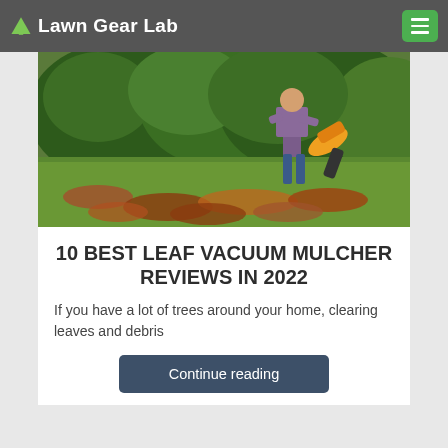Lawn Gear Lab
[Figure (photo): Person using an orange leaf blower/vacuum mulcher on a lawn covered with fallen autumn leaves, with green bushes in the background.]
10 BEST LEAF VACUUM MULCHER REVIEWS IN 2022
If you have a lot of trees around your home, clearing leaves and debris
Continue reading